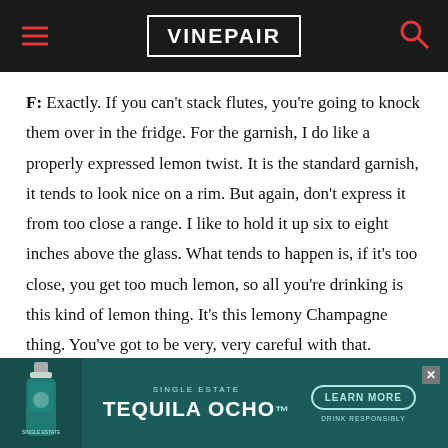VINEPAIR
F: Exactly. If you can't stack flutes, you're going to knock them over in the fridge. For the garnish, I do like a properly expressed lemon twist. It is the standard garnish, it tends to look nice on a rim. But again, don't express it from too close a range. I like to hold it up six to eight inches above the glass. What tends to happen is, if it's too close, you get too much lemon, so all you're drinking is this kind of lemon thing. It's this lemony Champagne thing. You've got to be very, very careful with that.
[Figure (other): Advertisement banner for Single Estate Tequila Ocho with a bottle image, learn more button, and drink responsibly text]